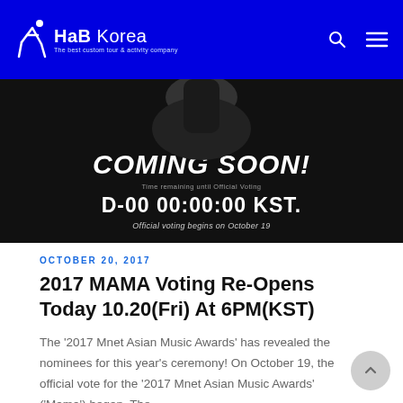HaB Korea – The best custom tour & activity company
[Figure (photo): Dark promotional banner showing 'COMING SOON!' text with countdown D-00 00:00:00 KST. and text 'Official voting begins on October 19']
OCTOBER 20, 2017
2017 MAMA Voting Re-Opens Today 10.20(Fri) At 6PM(KST)
The '2017 Mnet Asian Music Awards' has revealed the nominees for this year's ceremony! On October 19, the official vote for the '2017 Mnet Asian Music Awards' ('Mama') began. The...